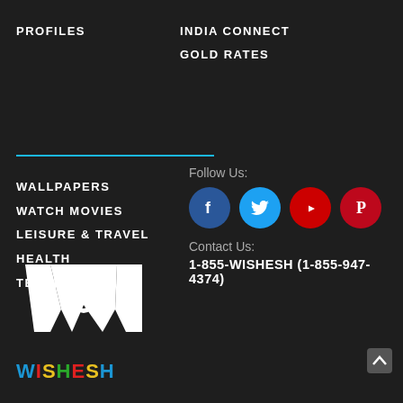PROFILES
INDIA CONNECT
GOLD RATES
WALLPAPERS
WATCH MOVIES
LEISURE & TRAVEL
HEALTH
TECHNOLOGY
[Figure (logo): Wishesh logo with stylized W and colored brand name text: W(blue)I(red)S(yellow)H(green)E(red)S(yellow)H(blue)]
Follow Us:
[Figure (infographic): Social media icons: Facebook (blue circle), Twitter (cyan circle), YouTube (red circle), Pinterest (red circle)]
Contact Us:
1-855-WISHESH (1-855-947-4374)